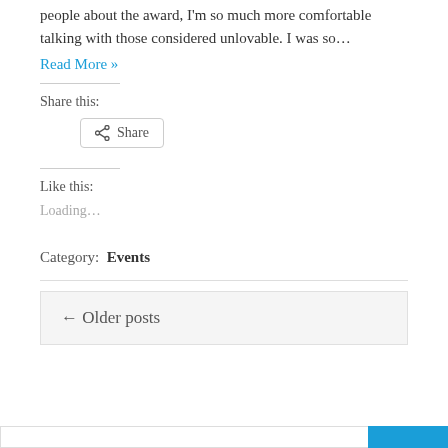people about the award, I'm so much more comfortable talking with those considered unlovable.  I was so…
Read More »
Share this:
[Figure (other): Share button with share icon]
Like this:
Loading...
Category: Events
← Older posts